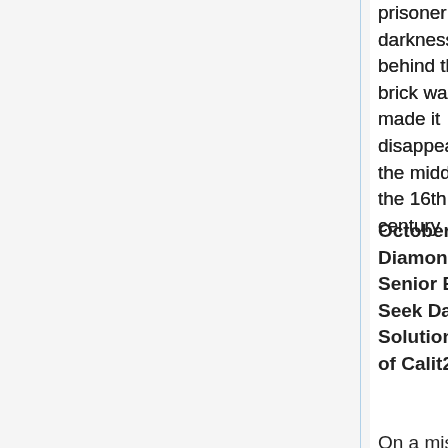prisoner of the darkness behind the brick wall that made it disappear in the middle of the 16th century. (Read More)
October 28, 2009 - DiamondExchange Senior Executives Seek Data Solutions on Tour of Calit2
On a mission to make "data more digestible," members of the DiamondExchange — a senior executive program